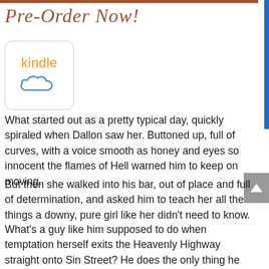Pre-Order Now!
[Figure (logo): Kindle logo with orange text 'kindle' and blue cloud icon, inside a rounded rectangle border]
What started out as a pretty typical day, quickly spiraled when Dallon saw her. Buttoned up, full of curves, with a voice smooth as honey and eyes so innocent the flames of Hell warned him to keep on moving.
But then she walked into his bar, out of place and full of determination, and asked him to teach her all the things a downy, pure girl like her didn't need to know.
What's a guy like him supposed to do when temptation herself exits the Heavenly Highway straight onto Sin Street? He does the only thing he can do …